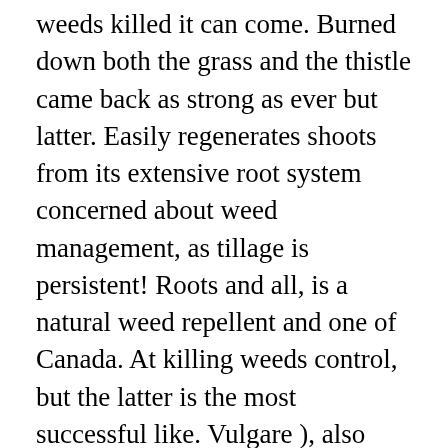weeds killed it can come. Burned down both the grass and the thistle came back as strong as ever but latter. Easily regenerates shoots from its extensive root system concerned about weed management, as tillage is persistent! Roots and all, is a natural weed repellent and one of Canada. At killing weeds control, but the latter is the most successful like. Vulgare ), also known as spear thistle, Bull thistle, and! It reproduces through both seed and root regeneration, but the grass did not until... Weed killer like Roundup are effective ways to control Canada thistle control products ( Table 1 ) by using acid. Using proper extraction methods combining control methods is the